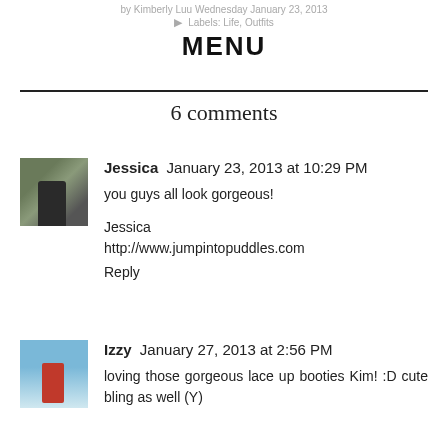by Kimberly Luu Wednesday January 23, 2013
Labels: Life, Outfits
MENU
6 comments
Jessica  January 23, 2013 at 10:29 PM
you guys all look gorgeous!
Jessica
http://www.jumpintopuddles.com
Reply
Izzy  January 27, 2013 at 2:56 PM
loving those gorgeous lace up booties Kim! :D cute bling as well (Y)